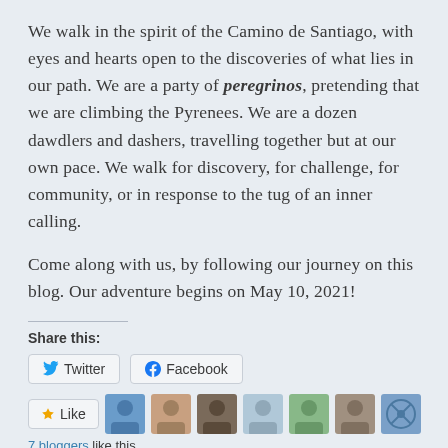We walk in the spirit of the Camino de Santiago, with eyes and hearts open to the discoveries of what lies in our path. We are a party of peregrinos, pretending that we are climbing the Pyrenees. We are a dozen dawdlers and dashers, travelling together but at our own pace. We walk for discovery, for challenge, for community, or in response to the tug of an inner calling.
Come along with us, by following our journey on this blog. Our adventure begins on May 10, 2021!
Share this:
Twitter  Facebook
Like
7 bloggers like this